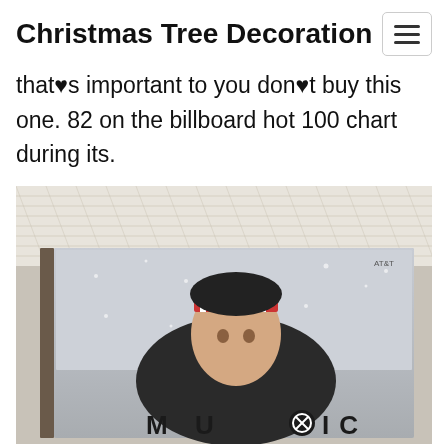Christmas Tree Decoration
that♥s important to you don♥t buy this one. 82 on the billboard hot 100 chart during its.
[Figure (photo): Photo of a music CD with cover art showing a child wearing a winter hat and coat in snowy conditions. The word MUSIC appears at the bottom of the CD cover. Background is white lace fabric.]